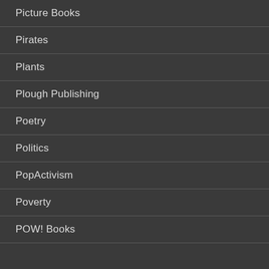Picture Books
Pirates
Plants
Plough Publishing
Poetry
Politics
PopActivism
Poverty
POW! Books